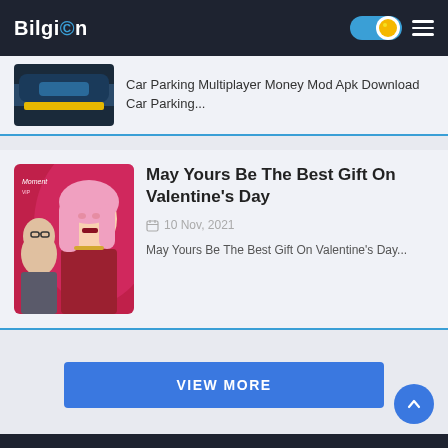BilgiOn
Car Parking Multiplayer Money Mod Apk Download Car Parking...
May Yours Be The Best Gift On Valentine's Day
10 Nov, 2021
May Yours Be The Best Gift On Valentine's Day...
VIEW MORE